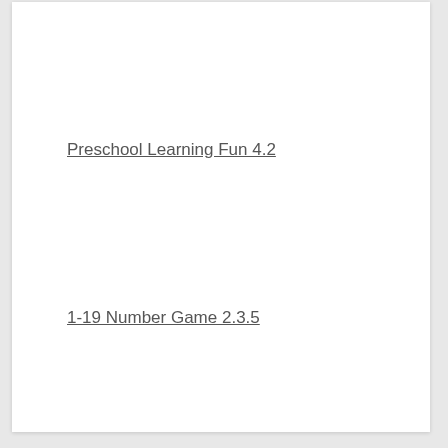Preschool Learning Fun 4.2
1-19 Number Game 2.3.5